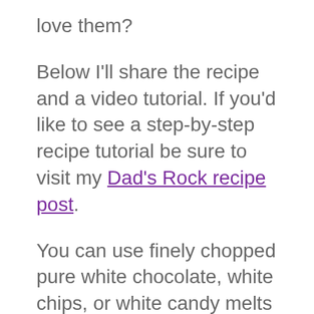love them?
Below I'll share the recipe and a video tutorial. If you'd like to see a step-by-step recipe tutorial be sure to visit my Dad's Rock recipe post.
You can use finely chopped pure white chocolate, white chips, or white candy melts to make this fudge. You can find what you need on Amazon (commission earned for sales).